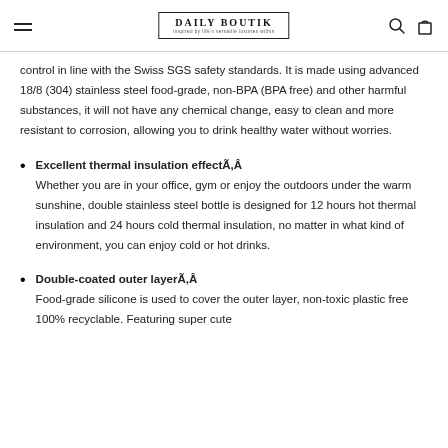DAILY BOUTIK
control in line with the Swiss SGS safety standards. It is made using advanced 18/8 (304) stainless steel food-grade, non-BPA (BPA free) and other harmful substances, it will not have any chemical change, easy to clean and more resistant to corrosion, allowing you to drink healthy water without worries.
Excellent thermal insulation effectÃ,Â Whether you are in your office, gym or enjoy the outdoors under the warm sunshine, double stainless steel bottle is designed for 12 hours hot thermal insulation and 24 hours cold thermal insulation, no matter in what kind of environment, you can enjoy cold or hot drinks.
Double-coated outer layerÃ,Â Food-grade silicone is used to cover the outer layer, non-toxic plastic free 100% recyclable. Featuring super cute